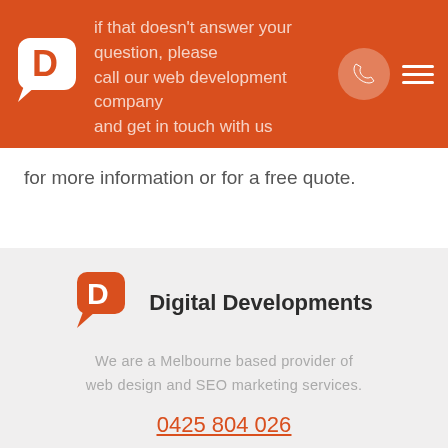Digital Developments logo and navigation header
for more information or for a free quote.
[Figure (logo): Digital Developments logo with speech bubble D icon and company name]
We are a Melbourne based provider of web design and SEO marketing services.
0425 804 026
hello@digidev.com.au
Social
[Figure (illustration): Twitter and Facebook social media icons]